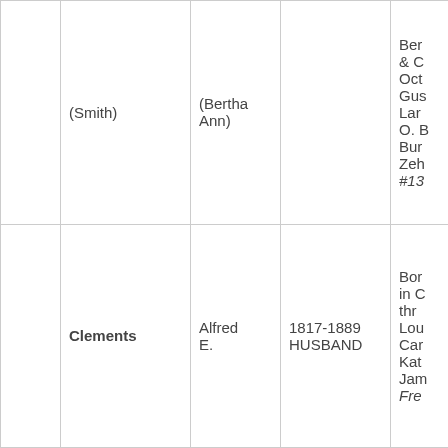|  |  |  |  | (truncated) |
| --- | --- | --- | --- | --- |
|  | (Smith) | (Bertha Ann) |  | Ber
& C
Oct
Gus
Lar
O. B
Bur
Zeh
#13 |
|  | Clements | Alfred E. | 1817-1889
HUSBAND | Bor
in C
thr
Lou
Car
Kat
Jam
Fre |